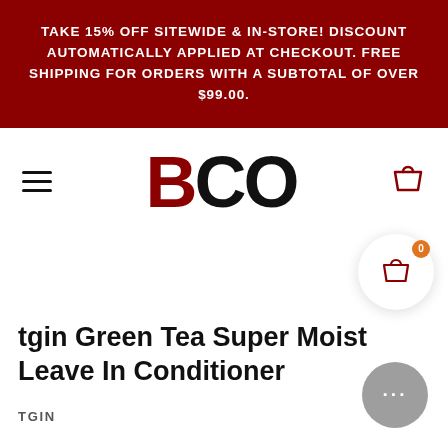TAKE 15% OFF SITEWIDE & IN-STORE! DISCOUNT AUTOMATICALLY APPLIED AT CHECKOUT. FREE SHIPPING FOR ORDERS WITH A SUBTOTAL OF OVER $99.00.
[Figure (logo): BCO logo with B in dark red and CO in black, large bold text]
tgin Green Tea Super Moist Leave In Conditioner
TGIN